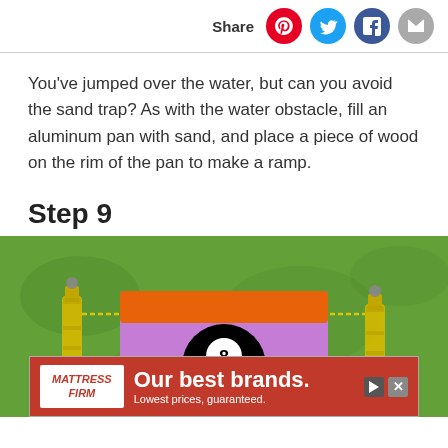Share
You've jumped over the water, but can you avoid the sand trap? As with the water obstacle, fill an aluminum pan with sand, and place a piece of wood on the rim of the pan to make a ramp.
Step 9
[Figure (photo): Photo of a DIY mini golf obstacle in grass: a purple foam board structure decorated with a billiard 8-ball design, flanked by two yellow-filled glass bottles. An advertisement banner for Mattress Firm reading 'Our best brands. Lowest prices, guaranteed.' overlays the bottom of the image.]